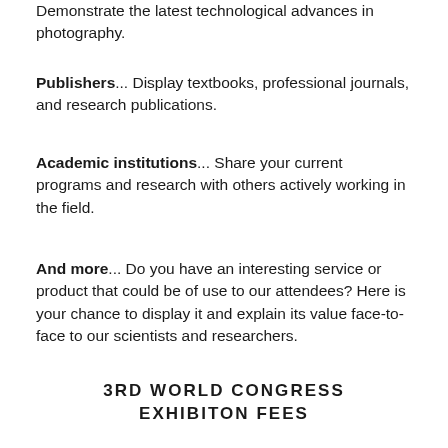Demonstrate the latest technological advances in photography.
Publishers... Display textbooks, professional journals, and research publications.
Academic institutions... Share your current programs and research with others actively working in the field.
And more... Do you have an interesting service or product that could be of use to our attendees? Here is your chance to display it and explain its value face-to-face to our scientists and researchers.
3RD WORLD CONGRESS EXHIBITON FEES